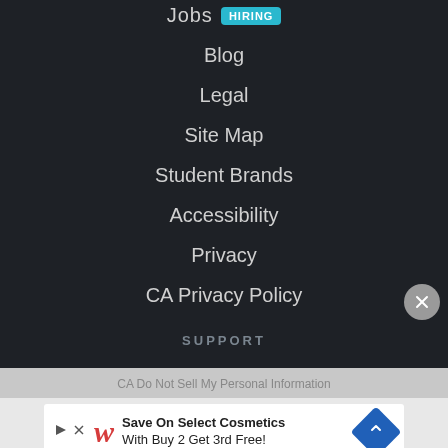JOBS HIRING
Blog
Legal
Site Map
Student Brands
Accessibility
Privacy
CA Privacy Policy
SUPPORT
Help
Contact Us
CA Do Not Sell My Personal Information
[Figure (other): Advertisement banner: Save On Select Cosmetics With Buy 2 Get 3rd Free! (Walgreens)]